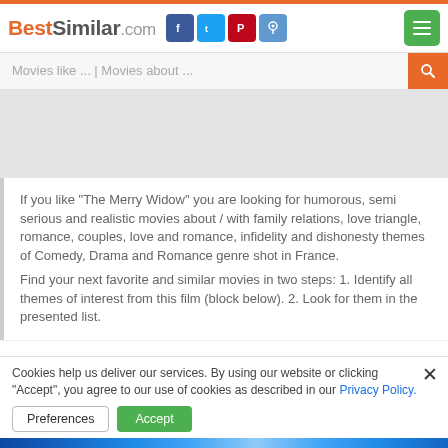BestSimilar.com
Movies like ... | Movies about ...
If you like "The Merry Widow" you are looking for humorous, semi serious and realistic movies about / with family relations, love triangle, romance, couples, love and romance, infidelity and dishonesty themes of Comedy, Drama and Romance genre shot in France. Find your next favorite and similar movies in two steps: 1. Identify all themes of interest from this film (block below). 2. Look for them in the presented list.
The Merry Widow (2007)
5.3
950
Cookies help us deliver our services. By using our website or clicking "Accept", you agree to our use of cookies as described in our Privacy Policy.
Preferences
Accept